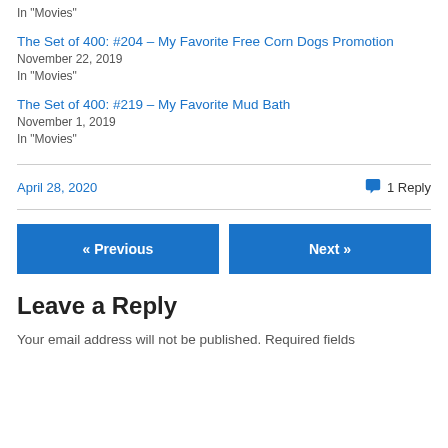In "Movies"
The Set of 400: #204 – My Favorite Free Corn Dogs Promotion
November 22, 2019
In "Movies"
The Set of 400: #219 – My Favorite Mud Bath
November 1, 2019
In "Movies"
April 28, 2020
1 Reply
« Previous
Next »
Leave a Reply
Your email address will not be published. Required fields